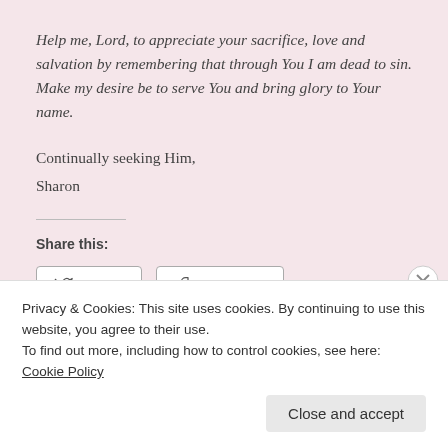Help me, Lord, to appreciate your sacrifice, love and salvation by remembering that through You I am dead to sin. Make my desire be to serve You and bring glory to Your name.
Continually seeking Him,
Sharon
Share this:
[Figure (screenshot): Twitter and Facebook share buttons]
Loading...
Privacy & Cookies: This site uses cookies. By continuing to use this website, you agree to their use.
To find out more, including how to control cookies, see here: Cookie Policy